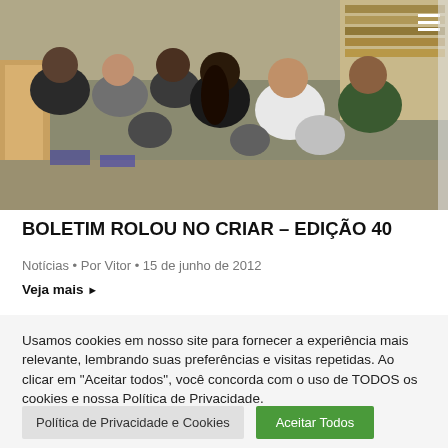[Figure (photo): Group of students and people seated in a room, appearing to be in a meeting or event, viewed from behind and sides. Indoor setting, possibly a library or classroom.]
BOLETIM ROLOU NO CRIAR – EDIÇÃO 40
Notícias • Por Vitor • 15 de junho de 2012
Veja mais ▶
Usamos cookies em nosso site para fornecer a experiência mais relevante, lembrando suas preferências e visitas repetidas. Ao clicar em "Aceitar todos", você concorda com o uso de TODOS os cookies e nossa Política de Privacidade.
Política de Privacidade e Cookies
Aceitar Todos